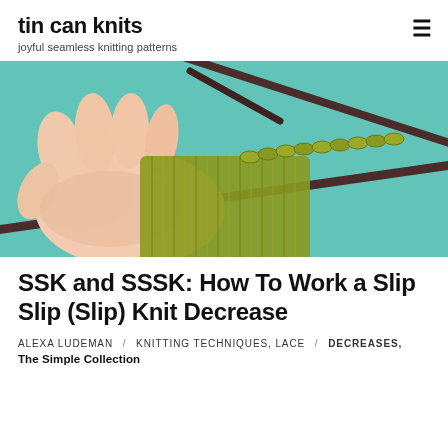tin can knits — joyful seamless knitting patterns
[Figure (photo): Close-up photo of a hand holding olive/chartreuse green knitting on dark brown/burgundy knitting needles, against a teal/turquoise background. The knitting shows a ribbed or stockinette fabric with stitches on the needle.]
SSK and SSSK: How To Work a Slip Slip (Slip) Knit Decrease
ALEXA LUDEMAN / knitting techniques, lace / decreases, The Simple Collection